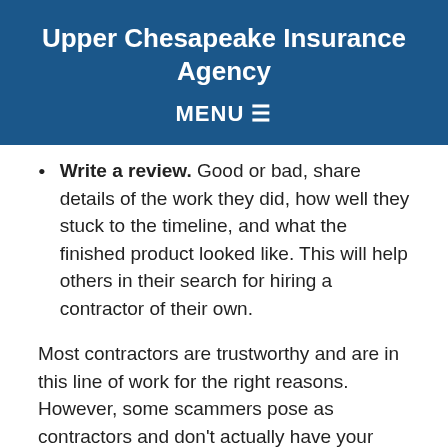Upper Chesapeake Insurance Agency
MENU ≡
Write a review. Good or bad, share details of the work they did, how well they stuck to the timeline, and what the finished product looked like. This will help others in their search for hiring a contractor of their own.
Most contractors are trustworthy and are in this line of work for the right reasons. However, some scammers pose as contractors and don't actually have your best interests in mind. Here are some signs that should make you think twice: